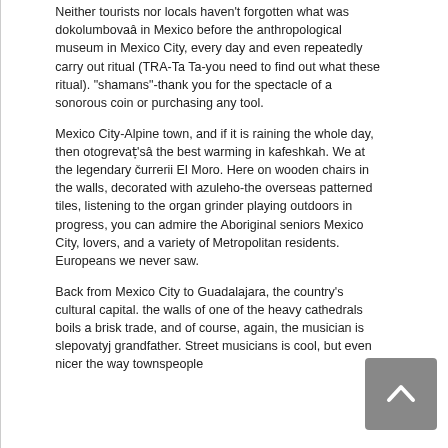Neither tourists nor locals haven't forgotten what was dokolumbovaâ in Mexico before the anthropological museum in Mexico City, every day and even repeatedly carry out ritual (TRA-Ta Ta-you need to find out what these ritual). "shamans"-thank you for the spectacle of a sonorous coin or purchasing any tool.
Mexico City-Alpine town, and if it is raining the whole day, then otogrevaṭ'sâ the best warming in kafeshkah. We at the legendary čurrerii El Moro. Here on wooden chairs in the walls, decorated with azuleho-the overseas patterned tiles, listening to the organ grinder playing outdoors in progress, you can admire the Aboriginal seniors Mexico City, lovers, and a variety of Metropolitan residents. Europeans we never saw.
Back from Mexico City to Guadalajara, the country's cultural capital. the walls of one of the heavy cathedrals boils a brisk trade, and of course, again, the musician is slepovatyj grandfather. Street musicians is cool, but even nicer the way townspeople